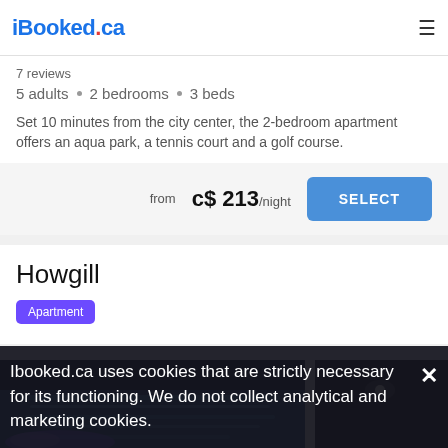iBooked.ca
7 reviews
5 adults • 2 bedrooms • 3 beds
Set 10 minutes from the city center, the 2-bedroom apartment offers an aqua park, a tennis court and a golf course.
from c$ 213/night SELECT
Howgill
Apartment
[Figure (photo): Indoor swimming pool with blue lighting and dark stone walls]
Ibooked.ca uses cookies that are strictly necessary for its functioning. We do not collect analytical and marketing cookies.